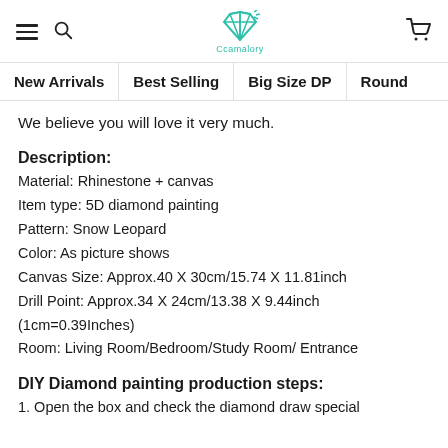Ccamalory — navigation header with hamburger menu, search, logo, and cart icon
New Arrivals | Best Selling | Big Size DP | Round
We believe you will love it very much.
Description:
Material: Rhinestone + canvas
Item type: 5D diamond painting
Pattern: Snow Leopard
Color: As picture shows
Canvas Size: Approx.40 X 30cm/15.74 X 11.81inch
Drill Point: Approx.34 X 24cm/13.38 X 9.44inch
(1cm=0.39Inches)
Room: Living Room/Bedroom/Study Room/ Entrance
DIY Diamond painting production steps:
1. Open the box and check the diamond draw special